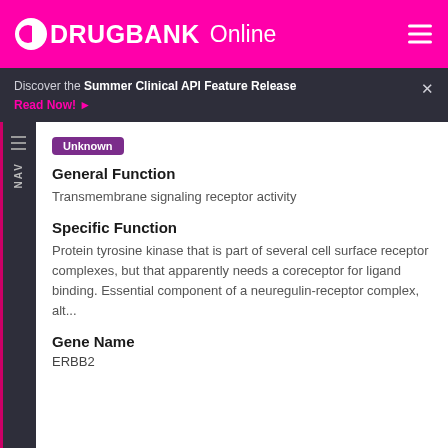DRUGBANK Online
Discover the Summer Clinical API Feature Release Read Now!
Unknown
General Function
Transmembrane signaling receptor activity
Specific Function
Protein tyrosine kinase that is part of several cell surface receptor complexes, but that apparently needs a coreceptor for ligand binding. Essential component of a neuregulin-receptor complex, alt...
Gene Name
ERBB2